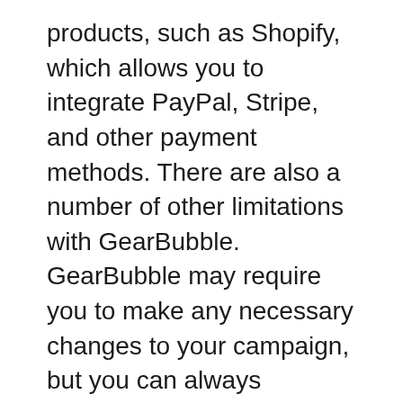products, such as Shopify, which allows you to integrate PayPal, Stripe, and other payment methods. There are also a number of other limitations with GearBubble. GearBubble may require you to make any necessary changes to your campaign, but you can always relaunch it at a later time.
When it comes to pricing, there are three plans available: Basic, Pro, and Unlimited. Each plan has its own advantages, but all have some common issues. While GearBubble offers a free trial, it is not worth the extra money for the limited amount of storage. The Pro Plan allows you to have more than three stores with the free plan. In addition, it offers a lot of additional features, such as an extensive dashboard.